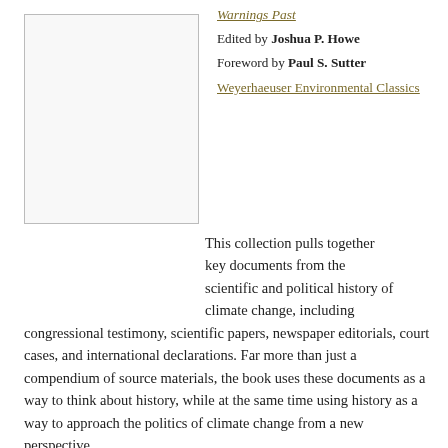[Figure (illustration): Book cover image placeholder — white/light gray rectangle with border]
Warnings Past
Edited by Joshua P. Howe
Foreword by Paul S. Sutter
Weyerhaeuser Environmental Classics
This collection pulls together key documents from the scientific and political history of climate change, including congressional testimony, scientific papers, newspaper editorials, court cases, and international declarations. Far more than just a compendium of source materials, the book uses these documents as a way to think about history, while at the same time using history as a way to approach the politics of climate change from a new perspective.
“Howe has done a huge service in bringing together, in one concise volume, many of the key documents related to the